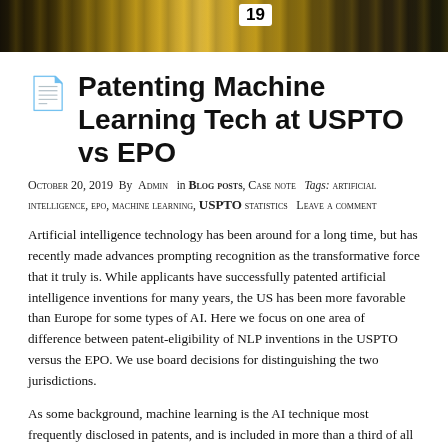[Figure (photo): Top photo strip showing people with number 19 visible, dark and gold toned image]
Patenting Machine Learning Tech at USPTO vs EPO
October 20, 2019  By  Admin   in Blog posts, Case note   Tags: artificial intelligence, epo, machine learning, USPTO statistics   Leave a comment
Artificial intelligence technology has been around for a long time, but has recently made advances prompting recognition as the transformative force that it truly is. While applicants have successfully patented artificial intelligence inventions for many years, the US has been more favorable than Europe for some types of AI. Here we focus on one area of difference between patent-eligibility of NLP inventions in the USPTO versus the EPO. We use board decisions for distinguishing the two jurisdictions.
As some background, machine learning is the AI technique most frequently disclosed in patents, and is included in more than a third of all AI related patent applications.